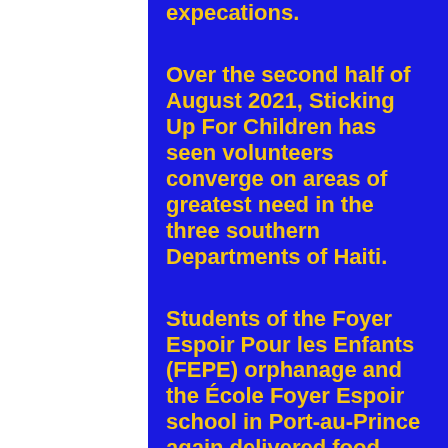expecations.
Over the second half of August 2021, Sticking Up For Children has seen volunteers converge on areas of greatest need in the three southern Departments of Haiti.
Students of the Foyer Espoir Pour les Enfants (FEPE) orphanage and the École Foyer Espoir school in Port-au-Prince again delivered food, water and…